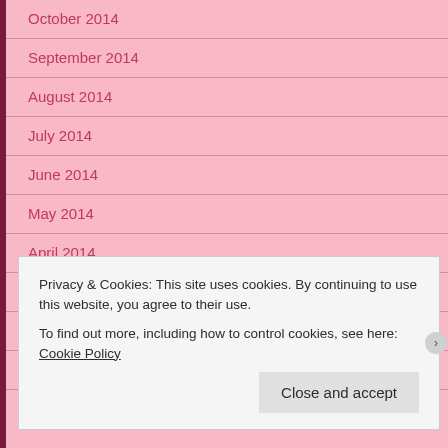October 2014
September 2014
August 2014
July 2014
June 2014
May 2014
April 2014
March 2014
February 2014
January 2014
Privacy & Cookies: This site uses cookies. By continuing to use this website, you agree to their use.
To find out more, including how to control cookies, see here: Cookie Policy
Close and accept